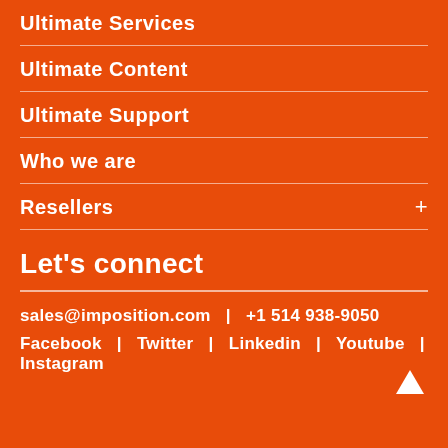Ultimate Services
Ultimate Content
Ultimate Support
Who we are
Resellers
Let's connect
sales@imposition.com   |   +1 514 938-9050
Facebook   |   Twitter   |   Linkedin   |   Youtube   |   Instagram